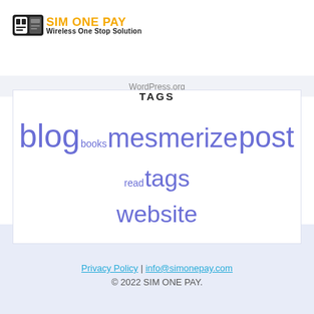[Figure (logo): SIM ONE PAY logo with SIM card icon, orange title text and tagline 'Wireless One Stop Solution']
WordPress.org
TAGS
blog books mesmerize post read tags website
Privacy Policy | info@simonepay.com © 2022 SIM ONE PAY.